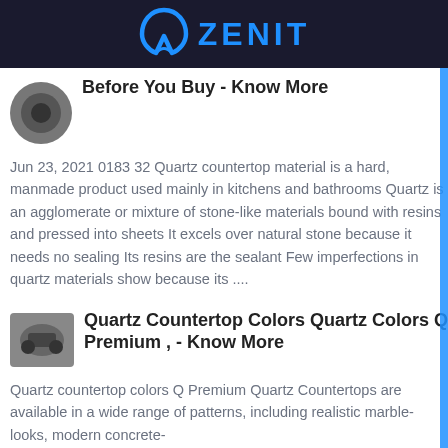ZENIT
[Figure (photo): Small circular thumbnail image, dark/grey tones]
Before You Buy - Know More
Jun 23, 2021 0183 32 Quartz countertop material is a hard, manmade product used mainly in kitchens and bathrooms Quartz is an agglomerate or mixture of stone-like materials bound with resins and pressed into sheets It excels over natural stone because it needs no sealing Its resins are the sealant Few imperfections in quartz materials show because its ....
[Figure (photo): Small thumbnail image of industrial equipment, grey tones]
Quartz Countertop Colors Quartz Colors Q Premium , - Know More
Quartz countertop colors Q Premium Quartz Countertops are available in a wide range of patterns, including realistic marble-looks, modern concrete-